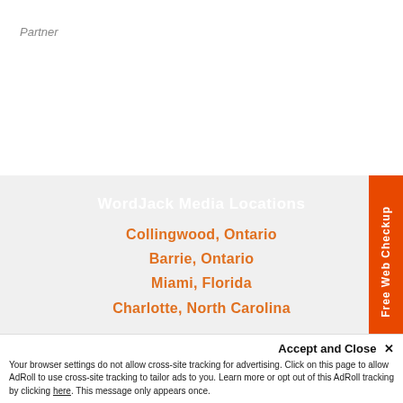Partner
WordJack Media Locations
Collingwood, Ontario
Barrie, Ontario
Miami, Florida
Charlotte, North Carolina
Free Web Checkup
Accept and Close ✕
Your browser settings do not allow cross-site tracking for advertising. Click on this page to allow AdRoll to use cross-site tracking to tailor ads to you. Learn more or opt out of this AdRoll tracking by clicking here. This message only appears once.